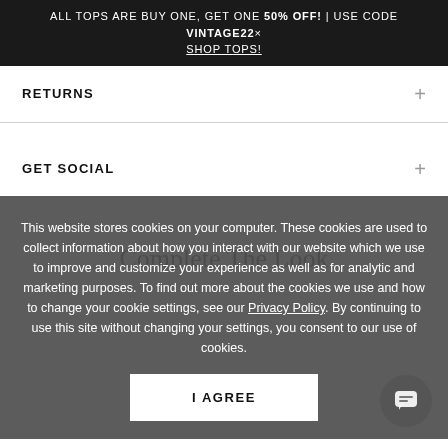ALL TOPS ARE BUY ONE, GET ONE 50% OFF! | USE CODE VINTAGE22 × SHOP TOPS!
RETURNS
GET SOCIAL
Complete The Look
This website stores cookies on your computer. These cookies are used to collect information about how you interact with our website which we use to improve and customize your experience as well as for analytic and marketing purposes. To find out more about the cookies we use and how to change your cookie settings, see our Privacy Policy. By continuing to use this site without changing your settings, you consent to our use of cookies.
I AGREE